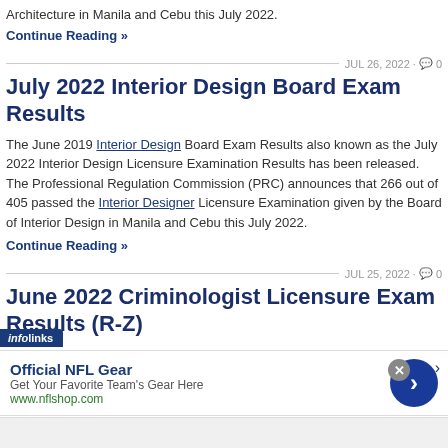Architecture in Manila and Cebu this July 2022.
Continue Reading »
JUL 26, 2022 · 💬 0
July 2022 Interior Design Board Exam Results
The June 2019 Interior Design Board Exam Results also known as the July 2022 Interior Design Licensure Examination Results has been released. The Professional Regulation Commission (PRC) announces that 266 out of 405 passed the Interior Designer Licensure Examination given by the Board of Interior Design in Manila and Cebu this July 2022.
Continue Reading »
JUL 25, 2022 · 💬 0
June 2022 Criminologist Licensure Exam Results (R-Z)
[Figure (infographic): Infolinks advertisement banner for Official NFL Gear showing blue circle with arrow, ad title 'Official NFL Gear', description 'Get Your Favorite Team's Gear Here', URL 'www.nflshop.com', with close button and infolinks badge.]